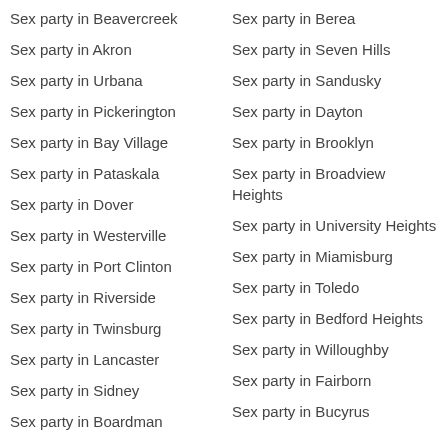Sex party in Beavercreek
Sex party in Akron
Sex party in Urbana
Sex party in Pickerington
Sex party in Bay Village
Sex party in Pataskala
Sex party in Dover
Sex party in Westerville
Sex party in Port Clinton
Sex party in Riverside
Sex party in Twinsburg
Sex party in Lancaster
Sex party in Sidney
Sex party in Boardman
Sex party in Berea
Sex party in Seven Hills
Sex party in Sandusky
Sex party in Dayton
Sex party in Brooklyn
Sex party in Broadview Heights
Sex party in University Heights
Sex party in Miamisburg
Sex party in Toledo
Sex party in Bedford Heights
Sex party in Willoughby
Sex party in Fairborn
Sex party in Bucyrus